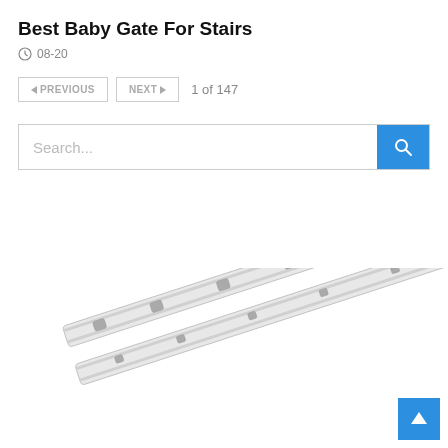Best Baby Gate For Stairs
08-20
◀ PREVIOUS   NEXT ▶   1 of 147
Search...
[Figure (photo): Two parallel metallic drawer slides or rail tracks shown diagonally, silver/white in color with mounting holes, on a white background.]